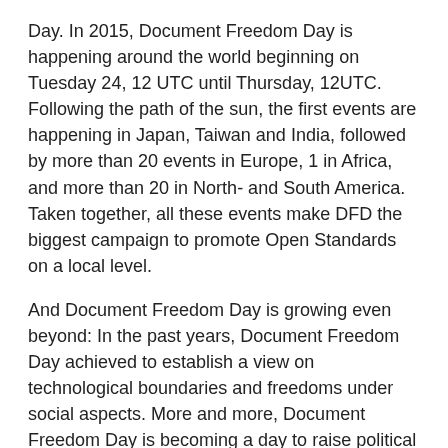Day. In 2015, Document Freedom Day is happening around the world beginning on Tuesday 24, 12 UTC until Thursday, 12UTC. Following the path of the sun, the first events are happening in Japan, Taiwan and India, followed by more than 20 events in Europe, 1 in Africa, and more than 20 in North- and South America. Taken together, all these events make DFD the biggest campaign to promote Open Standards on a local level.
And Document Freedom Day is growing even beyond: In the past years, Document Freedom Day achieved to establish a view on technological boundaries and freedoms under social aspects. More and more, Document Freedom Day is becoming a day to raise political attention also on a national or global level. In 2015, different organisations will use Document Freedom Day to publish and spread political statements. If you are not close to any event or you miss the time to pass by, watch out #DFD2015 in the news, blogs and media, participate, and help to get the world interconnected in freedom.